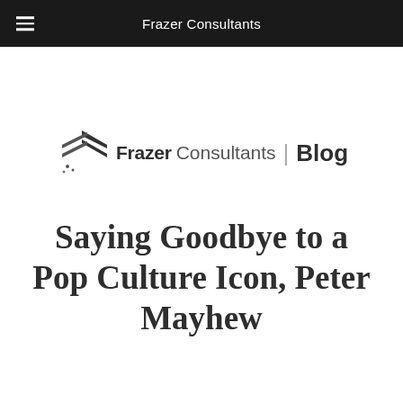Frazer Consultants
[Figure (logo): Frazer Consultants Blog logo with stylized arrow/chevron icon, bold 'Frazer' text, regular 'Consultants' text, vertical divider, and bold 'Blog' text]
Saying Goodbye to a Pop Culture Icon, Peter Mayhew